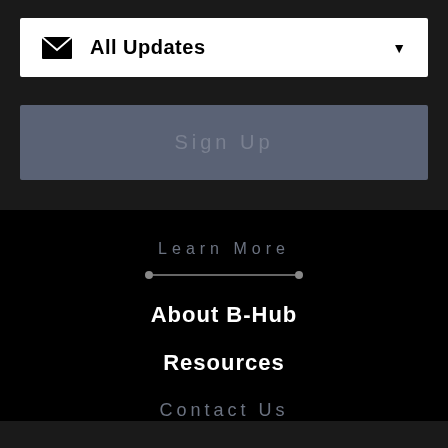All Updates
Sign Up
Learn More
About B-Hub
Resources
Contact Us